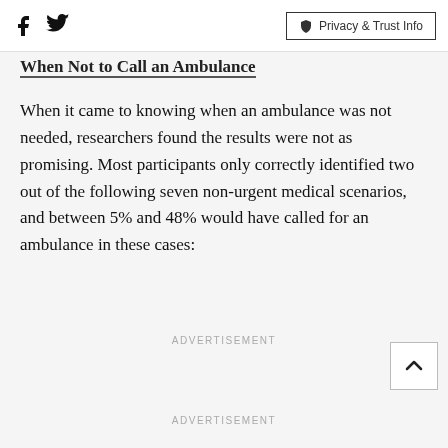Facebook Twitter | Privacy & Trust Info
When Not to Call an Ambulance
When it came to knowing when an ambulance was not needed, researchers found the results were not as promising. Most participants only correctly identified two out of the following seven non-urgent medical scenarios, and between 5% and 48% would have called for an ambulance in these cases:
ADVERTISEMENT
ADVERTISEMENT